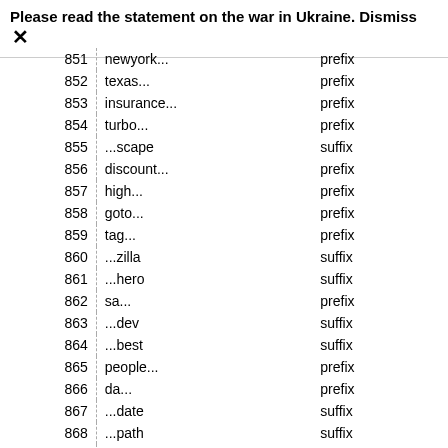Please read the statement on the war in Ukraine. Dismiss ✕
|  |  |  |
| --- | --- | --- |
| 851 | newyork... | prefix |
| 852 | texas... | prefix |
| 853 | insurance... | prefix |
| 854 | turbo... | prefix |
| 855 | ...scape | suffix |
| 856 | discount... | prefix |
| 857 | high... | prefix |
| 858 | goto... | prefix |
| 859 | tag... | prefix |
| 860 | ...zilla | suffix |
| 861 | ...hero | suffix |
| 862 | sa... | prefix |
| 863 | ...dev | suffix |
| 864 | ...best | suffix |
| 865 | people... | prefix |
| 866 | da... | prefix |
| 867 | ...date | suffix |
| 868 | ...path | suffix |
| 869 | ...auction | suffix |
| 870 | bright... | prefix |
| 871 | rent... | prefix |
| 872 | ...corner | suffix |